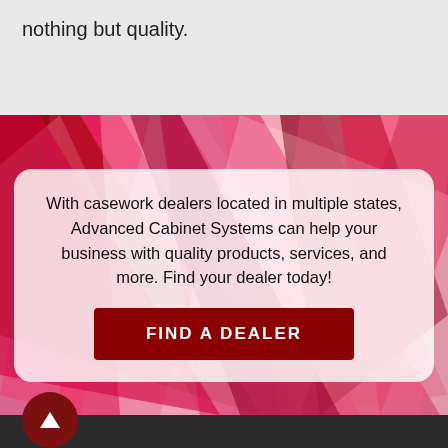nothing but quality.
[Figure (illustration): Abstract red and white geometric/ribbon shapes as decorative background]
With casework dealers located in multiple states, Advanced Cabinet Systems can help your business with quality products, services, and more. Find your dealer today!
FIND A DEALER